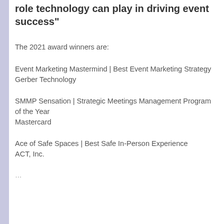role technology can play in driving event success"
The 2021 award winners are:
Event Marketing Mastermind | Best Event Marketing Strategy
Gerber Technology
SMMP Sensation | Strategic Meetings Management Program of the Year
Mastercard
Ace of Safe Spaces | Best Safe In-Person Experience
ACT, Inc.
...| Best...Event...